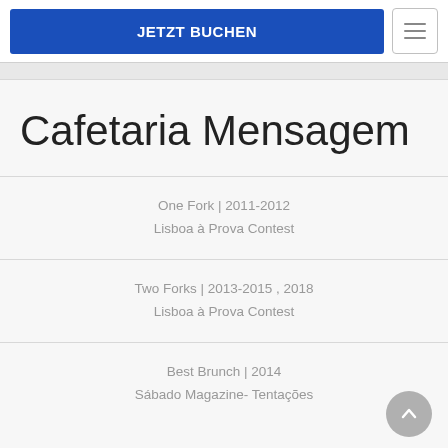JETZT BUCHEN
Cafetaria Mensagem
One Fork | 2011-2012
Lisboa à Prova Contest
Two Forks | 2013-2015 , 2018
Lisboa à Prova Contest
Best Brunch | 2014
Sábado Magazine- Tentações
Mehr Infos